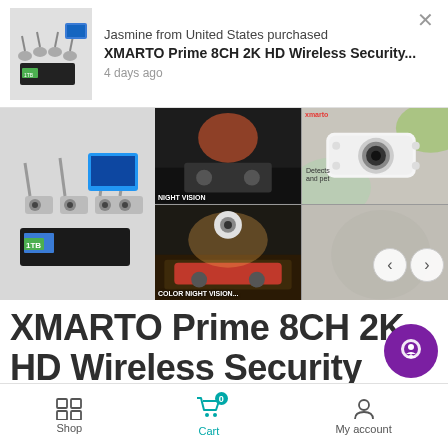Jasmine from United States purchased
XMARTO Prime 8CH 2K HD Wireless Security...
4 days ago
[Figure (photo): Product image carousel showing XMARTO wireless security camera system with NVR, night vision cameras, and color night vision shots]
XMARTO Prime 8CH 2K HD Wireless Security Camera System 24/7 with Color Night Vision, Human/pet Thermal Detect, 2-Way
Shop  Cart  My account